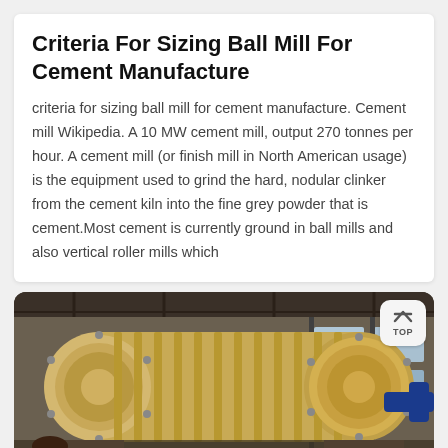Criteria For Sizing Ball Mill For Cement Manufacture
criteria for sizing ball mill for cement manufacture. Cement mill Wikipedia. A 10 MW cement mill, output 270 tonnes per hour. A cement mill (or finish mill in North American usage) is the equipment used to grind the hard, nodular clinker from the cement kiln into the fine grey powder that is cement.Most cement is currently ground in ball mills and also vertical roller mills which
[Figure (photo): Industrial ball mill machinery in a factory setting. A large yellow cylindrical ball mill with bolted flanges is shown in a warehouse/industrial building with steel structure roof and windows visible in the background.]